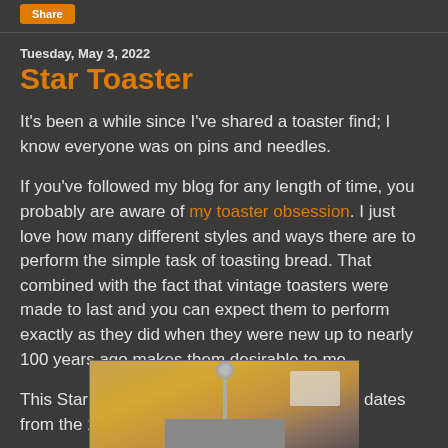Share
Tuesday, May 3, 2022
Star Toaster
It's been a while since I've shared a toaster find; I know everyone was on pins and needles.
If you've followed my blog for any length of time, you probably are aware of my toaster obsession.  I just love how many different styles and ways there are to perform the simple task of toasting bread.  That combined with the fact that vintage toasters were made to last and you can expect them to perform exactly as they did when they were new up to nearly 100 years ago makes them desirable to me.
This Star toaster by Fitzgerald Manufacturing dates from the 1920's.
[Figure (photo): Photo of a vintage Star toaster by Fitzgerald Manufacturing, showing the metallic body of the toaster against a warm background]